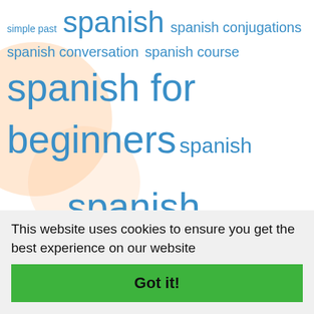[Figure (infographic): Tag cloud of Spanish-language learning keywords in varying sizes and shades of blue, with decorative orange/peach circular shapes in the background. Tags include: simple past, spanish, spanish conjugations, spanish conversation, spanish course, spanish for beginners, spanish, intermediate, spanish language, spanish, quiz, spanish verbs, spanish vocabulary, spanish worksheet, spanishworksheets, stress in words, verbs, vocabulary, weather, word stress.]
This website uses cookies to ensure you get the best experience on our website
Got it!